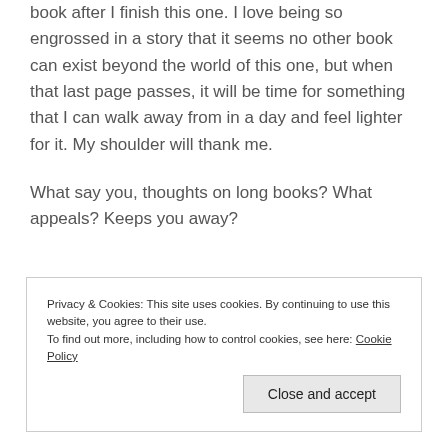book after I finish this one. I love being so engrossed in a story that it seems no other book can exist beyond the world of this one, but when that last page passes, it will be time for something that I can walk away from in a day and feel lighter for it. My shoulder will thank me.
What say you, thoughts on long books? What appeals? Keeps you away?
Privacy & Cookies: This site uses cookies. By continuing to use this website, you agree to their use. To find out more, including how to control cookies, see here: Cookie Policy